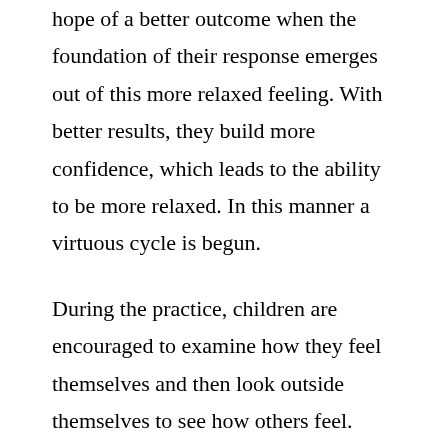hope of a better outcome when the foundation of their response emerges out of this more relaxed feeling. With better results, they build more confidence, which leads to the ability to be more relaxed. In this manner a virtuous cycle is begun.
During the practice, children are encouraged to examine how they feel themselves and then look outside themselves to see how others feel. They are taught intellectually to have a concern for others because everyone wants to